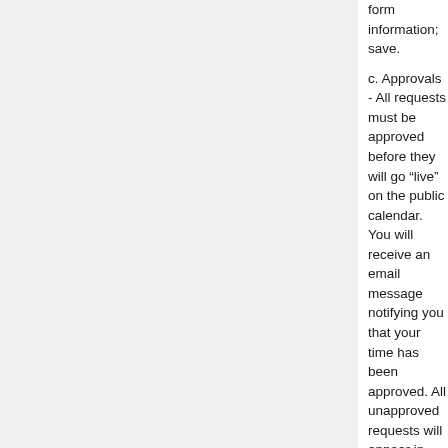form information; save.
c. Approvals - All requests must be approved before they will go “live” on the public calendar. You will receive an email message notifying you that your time has been approved. All unapproved requests will appear in red.